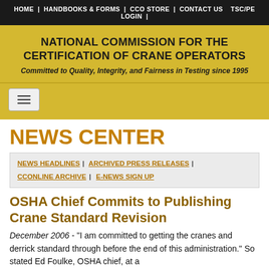HOME | HANDBOOKS & FORMS | CCO STORE | CONTACT US TSC/PE LOGIN |
NATIONAL COMMISSION FOR THE CERTIFICATION OF CRANE OPERATORS
Committed to Quality, Integrity, and Fairness in Testing since 1995
[Figure (other): Hamburger menu toggle button with three horizontal lines]
NEWS CENTER
NEWS HEADLINES | ARCHIVED PRESS RELEASES | CCONLINE ARCHIVE | E-NEWS SIGN UP
OSHA Chief Commits to Publishing Crane Standard Revision
December 2006 - "I am committed to getting the cranes and derrick standard through before the end of this administration." So stated Ed Foulke, OSHA chief, at a